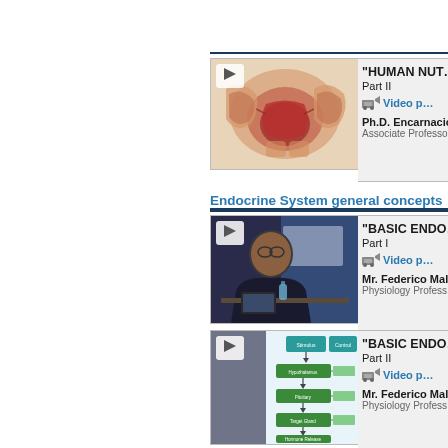[Figure (screenshot): Thumbnail of anatomy video showing human tongue and taste anatomy diagram]
"HUMAN NUT... Part II
Video p...
Ph.D. Encarnación... Associate Professo...
Endocrine System general concepts
[Figure (screenshot): Thumbnail of lecture video showing a professor seated at a desk]
"BASIC ENDO... Part I
Video p...
Mr. Federico Mallo... Physiology Profess...
[Figure (screenshot): Thumbnail of diagram video showing endocrine system flowchart]
"BASIC ENDO... Part II
Video p...
Mr. Federico Mallo... Physiology Profess...